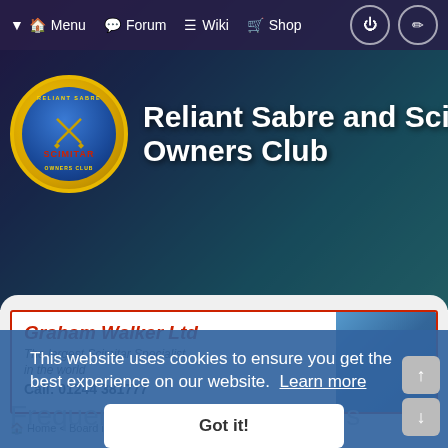Menu  Forum  Wiki  Shop
[Figure (screenshot): Reliant Sabre and Scimitar Owners Club website header with logo and navigation]
Reliant Sabre and Scimitar Owners Club
[Figure (photo): Graham Walker Ltd advertisement banner - The largest Scimitar Specialist in the world, Call: 01244 381777]
This website uses cookies to ensure you get the best experience on our website. Learn more
Got it!
Home  Board index  Frequently Asked Questions
Frequently Asked Questions